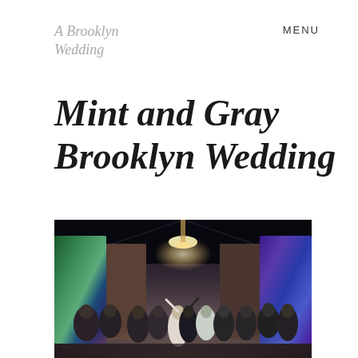A Brooklyn Wedding
MENU
Mint and Gray Brooklyn Wedding
[Figure (photo): Wedding party group photo inside a Brooklyn venue with brick walls, colorful stained glass panels on the sides, chandelier lighting, and the bridal party dressed in gray suits and mint bridesmaid dresses gathered in the center of the room.]